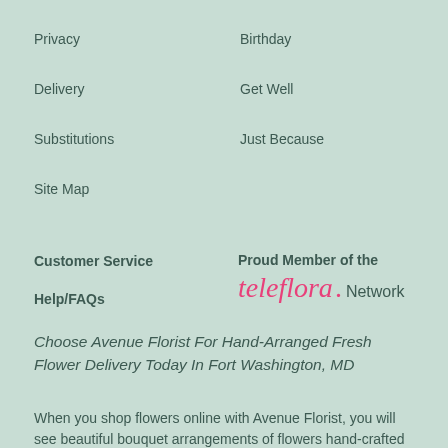Privacy
Birthday
Delivery
Get Well
Substitutions
Just Because
Site Map
Customer Service
Proud Member of the teleflora. Network
Help/FAQs
Choose Avenue Florist For Hand-Arranged Fresh Flower Delivery Today In Fort Washington, MD
When you shop flowers online with Avenue Florist, you will see beautiful bouquet arrangements of flowers hand-crafted with